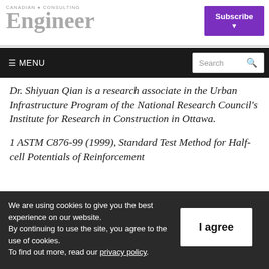CANADIAN CONSULTING Engineer | Subscribe
≡ MENU | Search
Dr. Shiyuan Qian is a research associate in the Urban Infrastructure Program of the National Research Council's Institute for Research in Construction in Ottawa.
1 ASTM C876-99 (1999), Standard Test Method for Half-cell Potentials of Reinforcement
We are using cookies to give you the best experience on our website. By continuing to use the site, you agree to the use of cookies. To find out more, read our privacy policy.